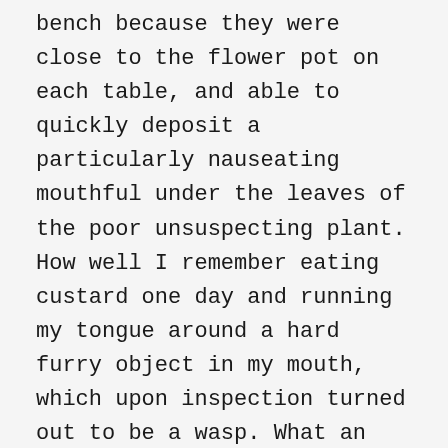bench because they were close to the flower pot on each table, and able to quickly deposit a particularly nauseating mouthful under the leaves of the poor unsuspecting plant. How well I remember eating custard one day and running my tongue around a hard furry object in my mouth, which upon inspection turned out to be a wasp. What an end ... drowned in a sea of custard somewhere between the kitchen and my spoon. UGH.
A second shrill blast on the whistle was a signal that we could now talk quietly for the remainder of the meal. Any loudness or naughtiness and you were made to stand by the wall and forego